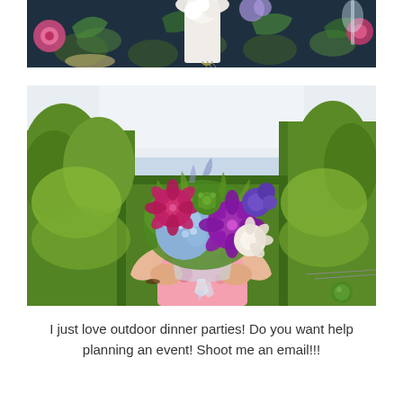[Figure (photo): Top-down view of an outdoor dinner table with a dark floral tablecloth, white flower centerpieces including hydrangeas and dahlias, pink flowers, yellow accents, and a wine glass visible at edge.]
[Figure (photo): A person in a floral pink dress holding a large colorful bouquet of flowers including blue hydrangeas, purple dahlias, magenta flowers, and green accents, obscuring their face, with a lush green forest and trees visible in the background.]
I just love outdoor dinner parties! Do you want help planning an event! Shoot me an email!!!